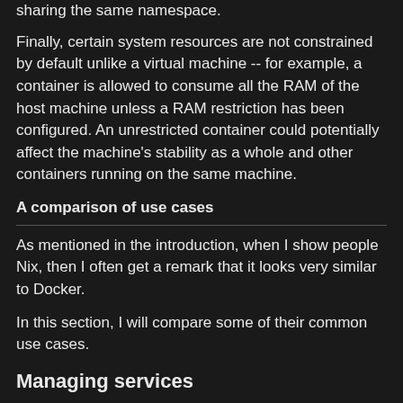sharing the same namespace.
Finally, certain system resources are not constrained by default unlike a virtual machine -- for example, a container is allowed to consume all the RAM of the host machine unless a RAM restriction has been configured. An unrestricted container could potentially affect the machine's stability as a whole and other containers running on the same machine.
A comparison of use cases
As mentioned in the introduction, when I show people Nix, then I often get a remark that it looks very similar to Docker.
In this section, I will compare some of their common use cases.
Managing services
In addition to building a Docker image, I believe the most common use case for Docker is to manage services, such as custom REST API services (that are self-contained